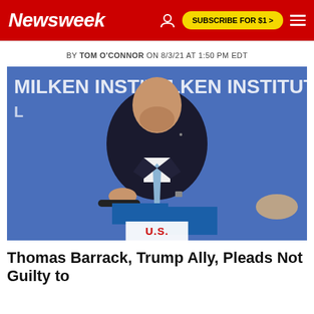Newsweek
BY TOM O'CONNOR ON 8/3/21 AT 1:50 PM EDT
[Figure (photo): Tom Barrack seated at Milken Institute event, wearing dark suit and light blue tie, in front of blue Milken Institute backdrop]
U.S.
Thomas Barrack, Trump Ally, Pleads Not Guilty to